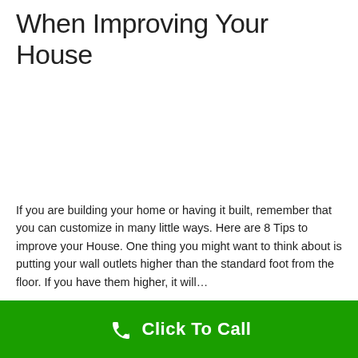When Improving Your House
[Figure (photo): Image placeholder area (white/blank) related to home improvement]
If you are building your home or having it built, remember that you can customize in many little ways. Here are 8 Tips to improve your House. One thing you might want to think about is putting your wall outlets higher than the standard foot from the floor. If you have them higher, it will…
Read More
Click To Call